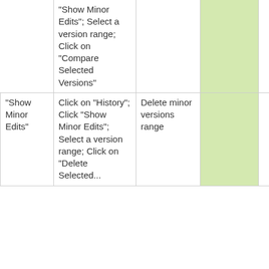|  | "Show Minor Edits"; Select a version range; Click on "Compare Selected Versions" |  |  |  |  |
| "Show Minor Edits" | Click on "History"; Click "Show Minor Edits"; Select a version range; Click on "Delete Selected... | Delete minor versions range |  | - | - |